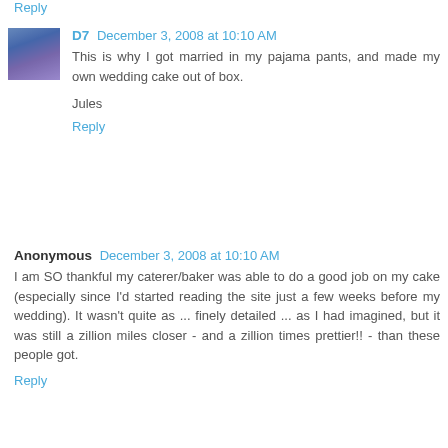Reply
D7  December 3, 2008 at 10:10 AM
This is why I got married in my pajama pants, and made my own wedding cake out of box.
Jules
Reply
Anonymous  December 3, 2008 at 10:10 AM
I am SO thankful my caterer/baker was able to do a good job on my cake (especially since I'd started reading the site just a few weeks before my wedding). It wasn't quite as ... finely detailed ... as I had imagined, but it was still a zillion miles closer - and a zillion times prettier!! - than these people got.
Reply